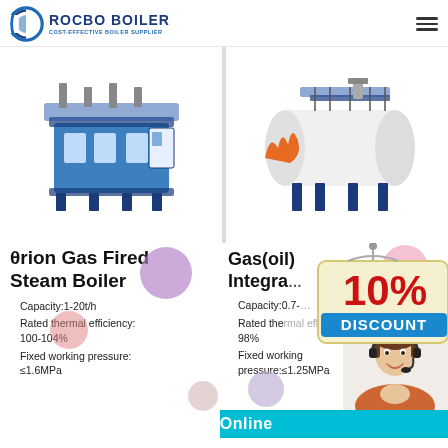[Figure (logo): Rocbo Boiler company logo with blue circular icon and text 'ROCBO BOILER - COST-EFFECTIVE BOILER SUPPLIER']
[Figure (photo): Blue industrial gas fired steam boiler unit, large rectangular modular design]
[Figure (photo): White cylindrical gas/oil integrated steam boiler with blue frame]
θrion Gas Fired Steam Boiler
Gas(oil) Integrated [partial, overlapped by discount badge]
Capacity:1-20t/h
Rated thermal efficiency: 100-104%
Fixed working pressure: ≤1.6MPa
Capacity:0.7-[obscured]
Rated the[rmal efficiency:] 98%
Fixed working pressure:≤1.25MPa
[Figure (infographic): 10% DISCOUNT promotional badge in red and yellow]
[Figure (photo): Customer service representative with headset smiling]
7X24 Online